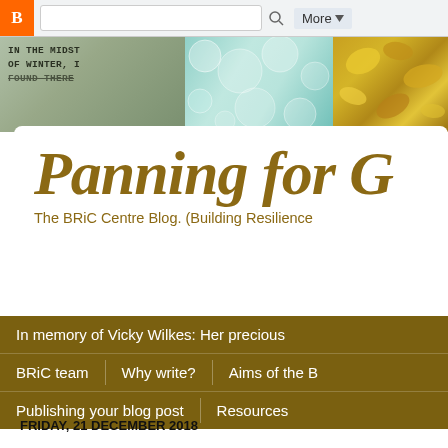[Figure (screenshot): Blogger top browser navigation bar with search box and More button]
[Figure (photo): Header image strip with three sections: left shows botanical/winter text overlay on green foliage, middle shows turquoise bubble/crystal texture, right shows golden autumn leaves]
Panning for G…
The BRiC Centre Blog. (Building Resilience…
In memory of Vicky Wilkes: Her precious…
BRiC team | Why write? | Aims of the …
Publishing your blog post | Resources
FRIDAY, 21 DECEMBER 2018